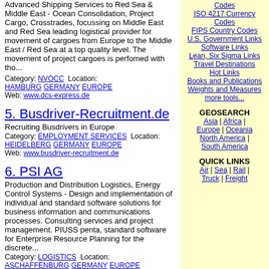Advanced Shipping Services to Red Sea & Middle East - Ocean Consolidation, Project Cargo, Crosstrades, focussing on Middle East and Red Sea leading logistical provider for movement of cargoes from Europe to the Middle East / Red Sea at a top quality level. The movement of project cargoes is perfomed with tho...
Category: NVOCC  Location: HAMBURG  GERMANY  EUROPE
Web: www.dcs-express.de
5. Busdriver-Recruitment.de
Recruiting Busdrivers in Europe
Category: EMPLOYMENT SERVICES  Location: HEIDELBERG  GERMANY  EUROPE
Web: www.busdriver-recruitment.de
6. PSI AG
Production and Distribution Logistics, Energy Control Systems - Design and implementation of individual and standard software solutions for business information and communications processes. Consulting services and project management. PIUSS penta, standard software for Enterprise Resource Planning for the discrete...
Category: LOGISTICS  Location: ASCHAFFENBURG  GERMANY  EUROPE
Web: www.psi.de
7. Hauck GmbH Entsorgungslogistik
Stapleranbaugeräte Staplerzubehör, Forklift Equipment - Webportal für Stapleranbaugeräte und
Codes
ISO 4217 Currency Codes
FIPS Country Codes
U.S. Government Links
Software Links
Lean, Six Sigma Links
Travel Destinations
Hot Links
Books and Publications
Weights and Measures
more tools...
GEOSEARCH
Asia | Africa | Europe | Oceania North America | South America
QUICK LINKS
Air | Sea | Rail | Truck | Freight